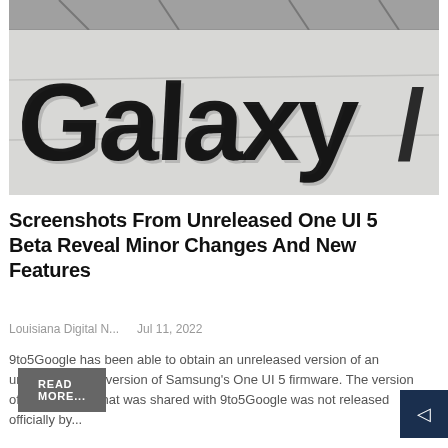[Figure (photo): Samsung Galaxy sign/logo in large 3D letters mounted on a ceiling/wall structure, black and white photograph]
Screenshots From Unreleased One UI 5 Beta Reveal Minor Changes And New Features
Louisiana Digital N...   Jul 11, 2022
9to5Google has been able to obtain an unreleased version of an unreleased beta version of Samsung's One UI 5 firmware. The version of the software that was shared with 9to5Google was not released officially by...
READ MORE...